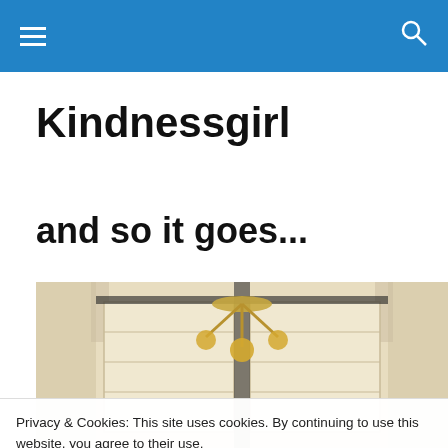Navigation bar with menu and search icons
Kindnessgirl
and so it goes...
[Figure (photo): Interior room photo showing white shuttered doors, draped curtains, and a gold chandelier hanging from the ceiling.]
Privacy & Cookies: This site uses cookies. By continuing to use this website, you agree to their use.
To find out more, including how to control cookies, see here: Cookie Policy
Close and accept